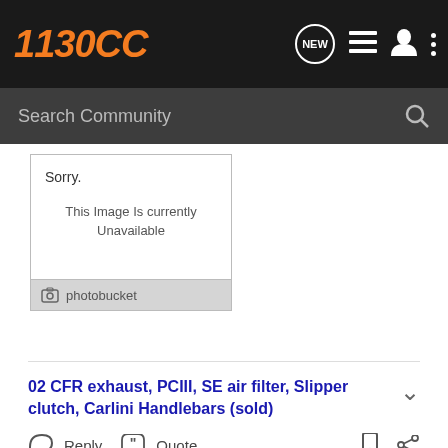1130 CC
Search Community
[Figure (screenshot): Photobucket image placeholder showing 'Sorry. This Image Is currently Unavailable']
02 CFR exhaust, PCIII, SE air filter, Slipper clutch, Carlini Handlebars (sold)
Reply  Quote
Lerenis · 1130cc Mike
Joined May 25, 2005 · 1,860 Posts